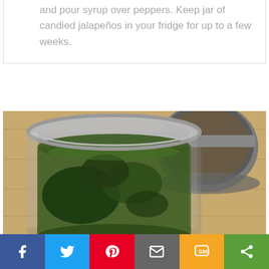and pour syrup over peppers. Keep jar of candied jalapeños in your fridge for up to a few weeks.
[Figure (photo): Overhead close-up photo of an open mason jar filled with candied jalapeños in syrup, with the metal lid visible beside it on a wooden surface.]
Social share bar with Facebook, Twitter, Pinterest, Email, SMS, and Share buttons